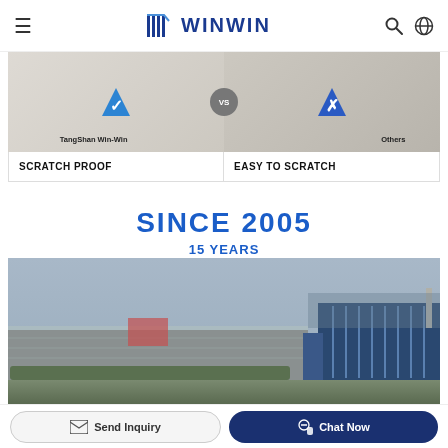WINWIN — navigation bar with hamburger menu, logo, search and globe icons
[Figure (photo): Side-by-side comparison of dinnerware scratch test: TangShan Win-Win plate (checkmark, scratch proof) vs Others plate (X mark, easy to scratch). Plates with fork shown on a beige background.]
SCRATCH PROOF
EASY TO SCRATCH
SINCE 2005
15 YEARS
EXPERIENCE IN CERAMIC DINNERWARE
[Figure (photo): Aerial view of a large ceramic dinnerware manufacturing factory complex with warehouses and an office building, surrounded by trees and open land under an overcast sky.]
Send Inquiry
Chat Now